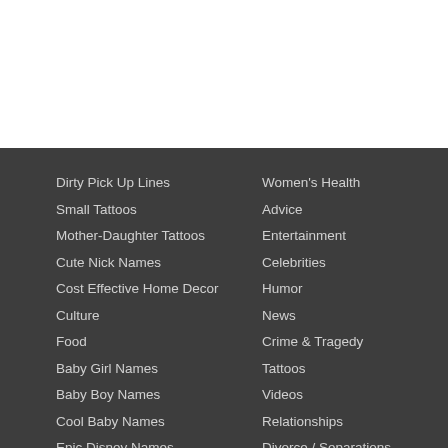Dirty Pick Up Lines
Small Tattoos
Mother-Daughter Tattoos
Cute Nick Names
Cost Effective Home Decor
Culture
Food
Baby Girl Names
Baby Boy Names
Cool Baby Names
Epic Disney Names
Jokes for Kids
Women's Health
Advice
Entertainment
Celebrities
Humor
News
Crime & Tragedy
Tattoos
Videos
Relationships
Divorce / Separations
Extended Family